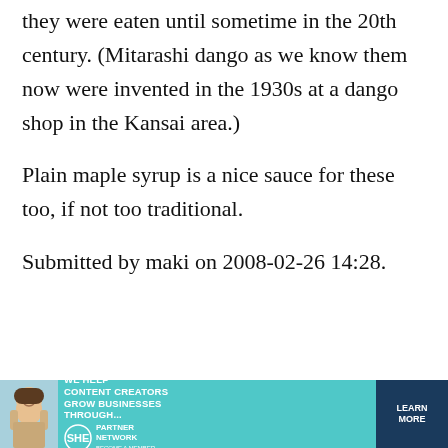they were eaten until sometime in the 20th century. (Mitarashi dango as we know them now were invented in the 1930s at a dango shop in the Kansai area.)
Plain maple syrup is a nice sauce for these too, if not too traditional.
Submitted by maki on 2008-02-26 14:28.
Filed under: dessert japanese party
[Figure (other): Advertisement banner for SHE Media Partner Network: 'We help content creators grow businesses through...' with a LEARN MORE button.]